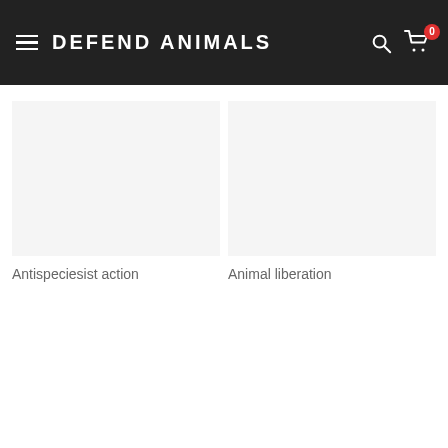DEFEND ANIMALS
Antispeciesist action
Animal liberation